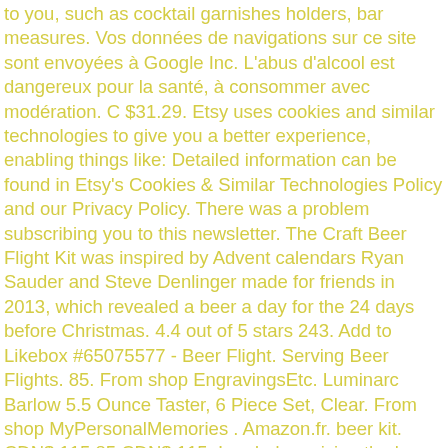to you, such as cocktail garnishes holders, bar measures. Vos données de navigations sur ce site sont envoyées à Google Inc. L'abus d'alcool est dangereux pour la santé, à consommer avec modération. C $31.29. Etsy uses cookies and similar technologies to give you a better experience, enabling things like: Detailed information can be found in Etsy's Cookies & Similar Technologies Policy and our Privacy Policy. There was a problem subscribing you to this newsletter. The Craft Beer Flight Kit was inspired by Advent calendars Ryan Sauder and Steve Denlinger made for friends in 2013, which revealed a beer a day for the 24 days before Christmas. 4.4 out of 5 stars 243. Add to Likebox #65075577 - Beer Flight. Serving Beer Flights. 85. From shop EngravingsEtc. Luminarc Barlow 5.5 Ounce Taster, 6 Piece Set, Clear. From shop MyPersonalMemories . Amazon.fr. beer kit. CDN$ 115.85 CDN$ 115. I ended up giving the beer flight kit to number 1 son one day early. Beer Flight Tasting Set of 5 pc Explicit - 4 Beer Glasses 8 fl oz 1 Solid Wood B. FREE Shipping by Amazon. Shop for Beer Flight Sets: LEGACY - a Picnic Time Brand Craft Beer Four-Glass Flight Tasting Set Starting with 4 handsome beer glasses, Home Wet Bar engrave each one with an exclusive Westbrook monogram, featuring the name, initial, date and text of your choice. All grain brewing offers new techniques, new ingredients, and more control over the brewing process. Get it Tomorrow, Jan 17. CDN$ 8.99 shipping. Testez. pours and a six beer flight of 3 oz. £39.90 £ 39. Bonjour. Identifiez-vous. In most cases though, a four bei